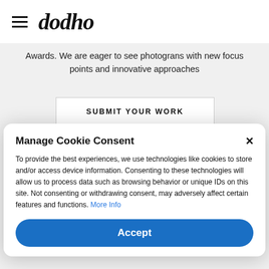[Figure (screenshot): Navigation bar with hamburger menu icon and 'dodho' logo in italic script]
Awards. We are eager to see photograns with new focus points and innovative approaches
SUBMIT YOUR WORK
[Figure (illustration): Horizontal gradient bar from blue-purple to teal]
Manage Cookie Consent
To provide the best experiences, we use technologies like cookies to store and/or access device information. Consenting to these technologies will allow us to process data such as browsing behavior or unique IDs on this site. Not consenting or withdrawing consent, may adversely affect certain features and functions. More Info
Accept